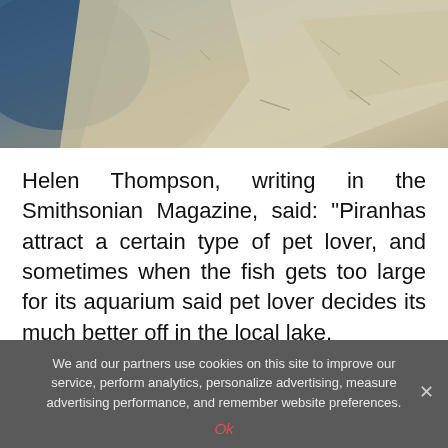[Figure (photo): Aerial or close-up photo of rocky/sandy terrain with blue water or shadow visible in upper left corner]
Helen Thompson, writing in the Smithsonian Magazine, said: "Piranhas attract a certain type of pet lover, and sometimes when the fish gets too large for its aquarium said pet lover decides its much better off in the local lake.
We and our partners use cookies on this site to improve our service, perform analytics, personalize advertising, measure advertising performance, and remember website preferences.
Ok